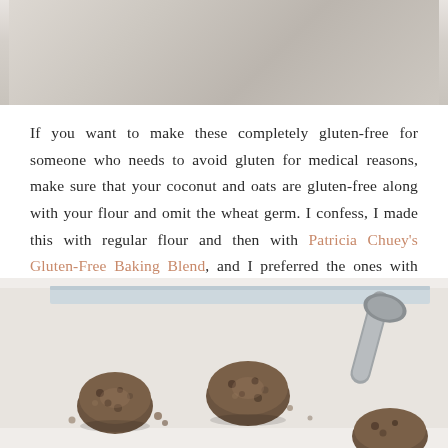[Figure (photo): Top portion of a baking photo, showing a light-colored surface, partially cropped at the top of the page.]
If you want to make these completely gluten-free for someone who needs to avoid gluten for medical reasons, make sure that your coconut and oats are gluten-free along with your flour and omit the wheat germ. I confess, I made this with regular flour and then with Patricia Chuey's Gluten-Free Baking Blend, and I preferred the ones with Patricia's flour!
[Figure (photo): Photo of small cookie dough balls on a baking sheet, with a cookie scoop visible in the upper right corner.]